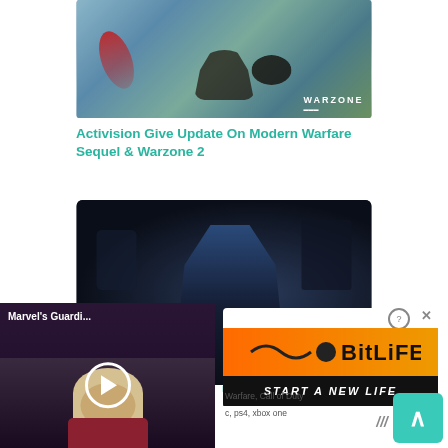[Figure (screenshot): Warzone game screenshot showing aerial view of players parachuting over snowy mountainous terrain with red smoke, Warzone logo in bottom right]
Activision Give Update On Modern Warfare Sequel & Warzone 2
[Figure (screenshot): Dark video game screenshot showing an armored character in a dark scene with orange glow, with Close X button overlay]
n Warfare II Revealed In
[Figure (screenshot): Video thumbnail showing Marvel's Guardi... with a play button and a blonde person visible]
[Figure (infographic): BitLife advertisement with orange background showing START A NEW LIFE text]
Warfare, Call of Duty
c, ps4, xbox one